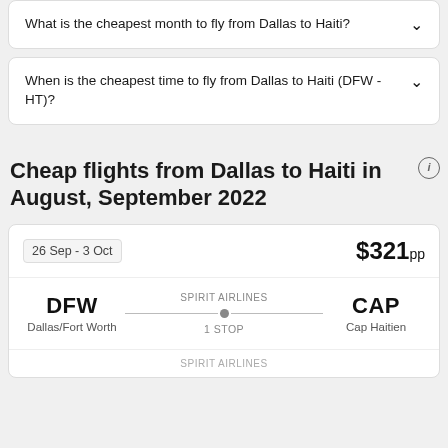What is the cheapest month to fly from Dallas to Haiti?
When is the cheapest time to fly from Dallas to Haiti (DFW - HT)?
Cheap flights from Dallas to Haiti in August, September 2022
26 Sep - 3 Oct   $321pp
DFW Dallas/Fort Worth  SPIRIT AIRLINES  1 STOP  CAP Cap Haitien
SPIRIT AIRLINES